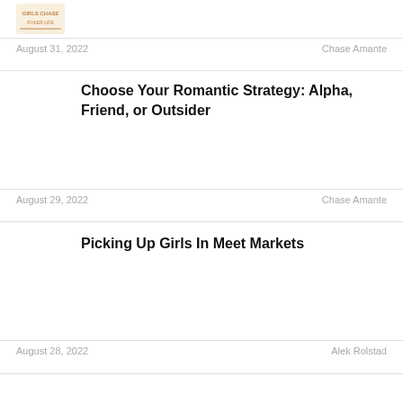[Figure (logo): Website logo at top left]
August 31, 2022   Chase Amante
Choose Your Romantic Strategy: Alpha, Friend, or Outsider
August 29, 2022   Chase Amante
Picking Up Girls In Meet Markets
August 28, 2022   Alek Rolstad